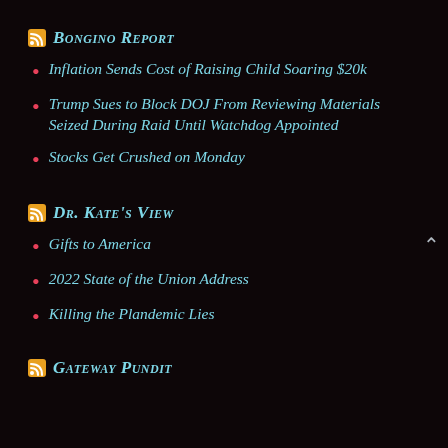Bongino Report
Inflation Sends Cost of Raising Child Soaring $20k
Trump Sues to Block DOJ From Reviewing Materials Seized During Raid Until Watchdog Appointed
Stocks Get Crushed on Monday
Dr. Kate's View
Gifts to America
2022 State of the Union Address
Killing the Plandemic Lies
Gateway Pundit